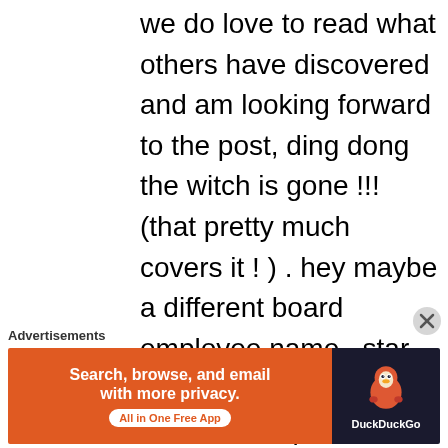we do love to read what others have discovered and am looking forward to the post, ding dong the witch is gone !!! (that pretty much covers it ! ) . hey maybe a different board employee name , star them each for what we all know. help az nurses should anyone there be taking J R"s place , she groomed them, look what campbell did to Krishna , training
Advertisements
[Figure (infographic): DuckDuckGo advertisement banner: orange left panel with text 'Search, browse, and email with more privacy. All in One Free App' and dark right panel with DuckDuckGo duck logo and DuckDuckGo text.]